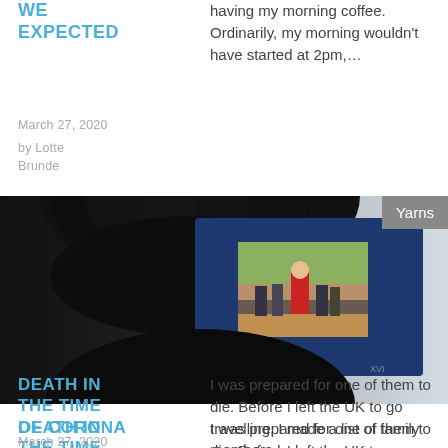WE EXPECTED
March 27, 2020
by Lotte Brunde
having my morning coffee. Ordinarily, my morning wouldn't have started at 2pm,…
[Figure (photo): A hand holding a dark blue photographic slide/transparency up to light, with a small image of a person in a crowd visible through the slide window. A grey 'Yarns' badge overlays the top right.]
DEATH IN THE TIME OF CORONA
March 27, 2020
by Megan Dye
I was prepared for one of them to die. Before I left the UK to go travelling, I made a list of family members I…